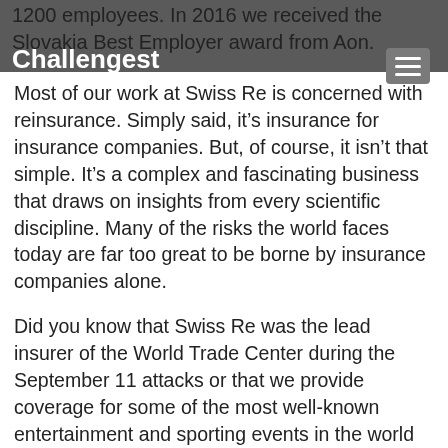Challengest
1200 employees. In 2016 we received the Slovakia Best Employer award from Aon.
Most of our work at Swiss Re is concerned with reinsurance. Simply said, it’s insurance for insurance companies. But, of course, it isn’t that simple. It’s a complex and fascinating business that draws on insights from every scientific discipline. Many of the risks the world faces today are far too great to be borne by insurance companies alone.
Did you know that Swiss Re was the lead insurer of the World Trade Center during the September 11 attacks or that we provide coverage for some of the most well-known entertainment and sporting events in the world such as Olympic Games or FIFA World Cup?
Swiss Re also supports sustainability and renewable energy innovations. Did you know we insured Solar Impulse, the first solar airplane, which flew around the world?